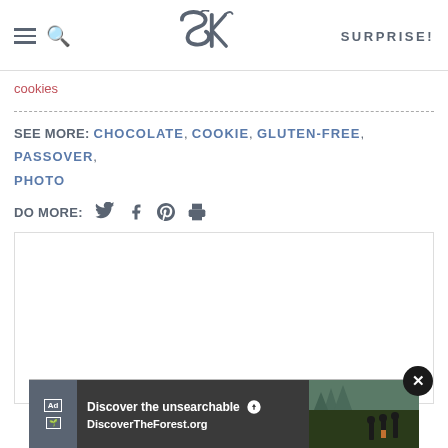SK — SURPRISE!
cookies
SEE MORE: CHOCOLATE, COOKIE, GLUTEN-FREE, PASSOVER, PHOTO
DO MORE: [twitter] [facebook] [pinterest] [print]
[Figure (screenshot): Empty comment/content area with white background and border]
[Figure (screenshot): Advertisement banner: Discover the unsearchable — DiscoverTheForest.org with forest photo]